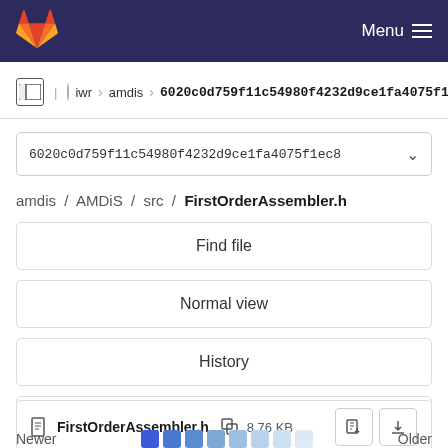GitLab — Menu
iwr > amdis > 6020c0d759f11c54980f4232d9ce1fa4075f1ec8
6020c0d759f11c54980f4232d9ce1fa4075f1ec8
amdis / AMDiS / src / FirstOrderAssembler.h
Find file
Normal view
History
Permalink
FirstOrderAssembler.h  8.76 KB
Newer  Older